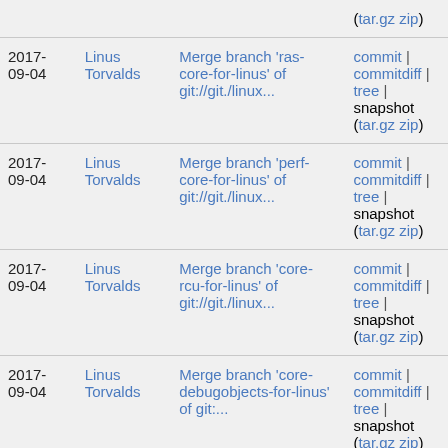| Date | Author | Commit message | Links |
| --- | --- | --- | --- |
|  |  |  | (tar.gz zip) |
| 2017-09-04 | Linus Torvalds | Merge branch 'ras-core-for-linus' of git://git./linux... | commit | commitdiff | tree | snapshot (tar.gz zip) |
| 2017-09-04 | Linus Torvalds | Merge branch 'perf-core-for-linus' of git://git./linux... | commit | commitdiff | tree | snapshot (tar.gz zip) |
| 2017-09-04 | Linus Torvalds | Merge branch 'core-rcu-for-linus' of git://git./linux... | commit | commitdiff | tree | snapshot (tar.gz zip) |
| 2017-09-04 | Linus Torvalds | Merge branch 'core-debugobjects-for-linus' of git:... | commit | commitdiff | tree | snapshot (tar.gz zip) |
| 2017-09-04 | Mark Brown | Merge remote-tracking branch 'spi/topic/xlp' into spi... | commit | commitdiff | tree | snapshot (tar.gz zip) |